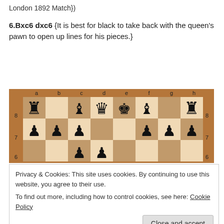London 1892 Match})
6.Bxc6 dxc6 {It is best for black to take back with the queen's pawn to open up lines for his pieces.}
[Figure (illustration): Chess board showing a position from the London 1892 Match game after 6.Bxc6 dxc6. Board shows ranks 6-8 visible, files a-h labeled. Black pieces: rooks on a8 and h8, bishop on c8, queen on d8, king on e8, bishop on f8, pawns on a7, b7, c7, f7, g7, h7, pawn on c6, pawn on d6 area.]
Privacy & Cookies: This site uses cookies. By continuing to use this website, you agree to their use.
To find out more, including how to control cookies, see here: Cookie Policy